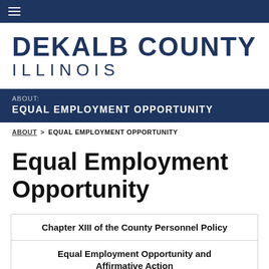≡ (navigation menu)
DEKALB COUNTY ILLINOIS
ABOUT: EQUAL EMPLOYMENT OPPORTUNITY
ABOUT > EQUAL EMPLOYMENT OPPORTUNITY
Equal Employment Opportunity
Chapter XIII of the County Personnel Policy
Equal Employment Opportunity and Affirmative Action